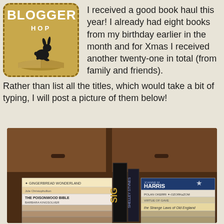[Figure (logo): Book Blogger Hop logo: tan/gold square with dashed border and rounded corners, rabbit silhouette over an open book, text BLOGGER in white bold, HOP in white caps]
I received a good book haul this year! I already had eight books from my birthday earlier in the month and for Xmas I received another twenty-one in total (from family and friends).
Rather than list all the titles, which would take a bit of typing, I will post a picture of them below!
[Figure (photo): Photo of stacks of books including Gingerbread Wonderland, The Poisonwood Bible by Barbara Kingsolver, a tall black spine book, books by Joanne Harris, and other titles, arranged in front of a dark wooden dresser]